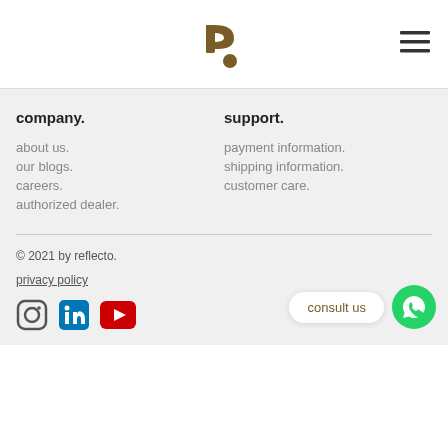r. [logo] [hamburger menu]
company.
about us.
our blogs.
careers.
authorized dealer.
support.
payment information.
shipping information.
customer care.
© 2021 by reflecto.
privacy policy
[Instagram] [LinkedIn] [YouTube] consult us [WhatsApp]